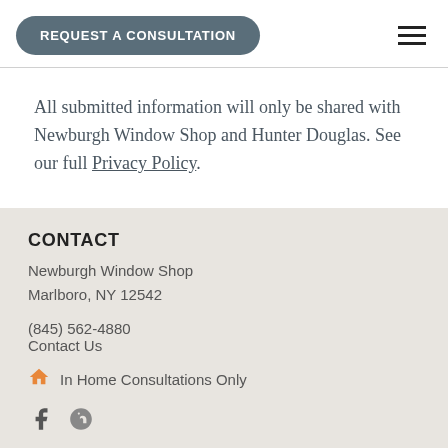REQUEST A CONSULTATION
All submitted information will only be shared with Newburgh Window Shop and Hunter Douglas. See our full Privacy Policy.
CONTACT
Newburgh Window Shop
Marlboro, NY 12542
(845) 562-4880
Contact Us
In Home Consultations Only